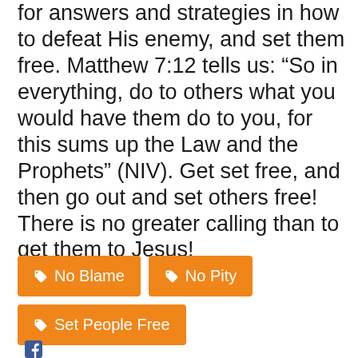for answers and strategies in how to defeat His enemy, and set them free. Matthew 7:12 tells us: “So in everything, do to others what you would have them do to you, for this sums up the Law and the Prophets” (NIV). Get set free, and then go out and set others free! There is no greater calling than to get them to Jesus!
No Blame
No Pity
Set People Free
[Figure (logo): Facebook icon/logo at the bottom of the page]